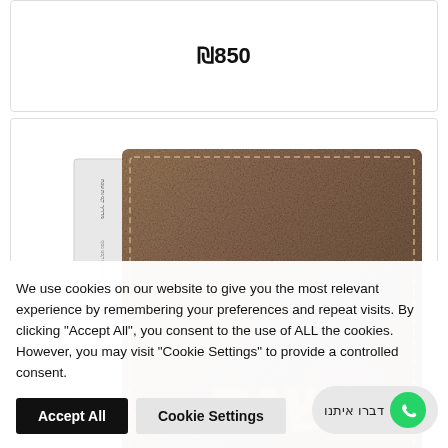₪850
[Figure (photo): A brown leather wallet/cover with embossed Hebrew text, partially overlapping with a white item on the left side. The leather has a distressed, aged look.]
We use cookies on our website to give you the most relevant experience by remembering your preferences and repeat visits. By clicking "Accept All", you consent to the use of ALL the cookies. However, you may visit "Cookie Settings" to provide a controlled consent.
Accept All
Cookie Settings
דברו איתנו